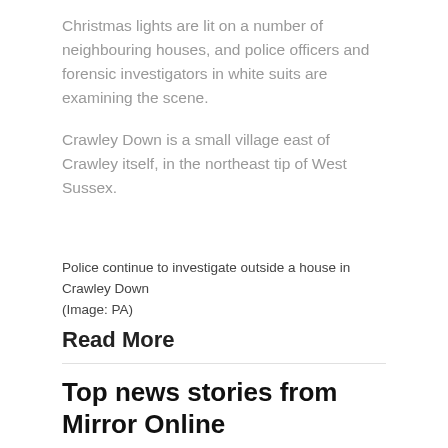Christmas lights are lit on a number of neighbouring houses, and police officers and forensic investigators in white suits are examining the scene.
Crawley Down is a small village east of Crawley itself, in the northeast tip of West Sussex.
Police continue to investigate outside a house in Crawley Down
(Image: PA)
Read More
Top news stories from Mirror Online
The probe continues.